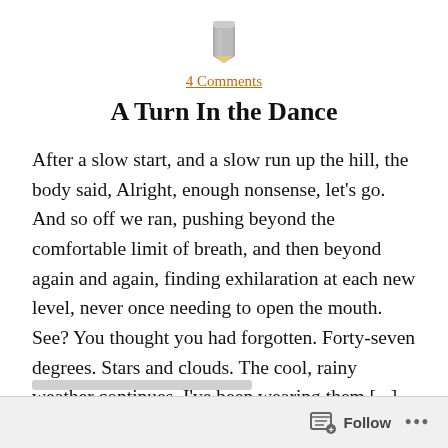[Figure (illustration): Gray pencil icon centered at top]
4 Comments
A Turn In the Dance
After a slow start, and a slow run up the hill, the body said, Alright, enough nonsense, let’s go. And so off we ran, pushing beyond the comfortable limit of breath, and then beyond again and again, finding exhilaration at each new level, never once needing to open the mouth. See? You thought you had forgotten. Forty-seven degrees. Stars and clouds. The cool, rainy weather continues. I’ve been wearing them [...]
Follow ...